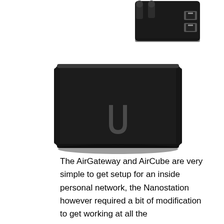[Figure (photo): Two Ubiquiti networking devices stacked: on top, a black Nanostation-style device with antennas and Ethernet ports; below, a black AirCube router with the Ubiquiti 'U' logo on the front face.]
The AirGateway and AirCube are very simple to get setup for an inside personal network, the Nanostation however required a bit of modification to get working at all the